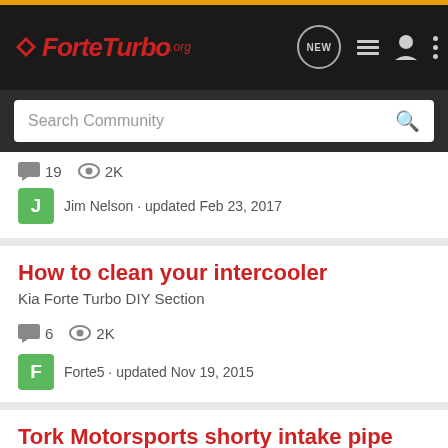ForteTurbo.org
Search Community
19 replies · 2K views
Jim Nelson · updated Feb 23, 2017
How to clean your intercooler
Kia Forte Turbo DIY Section
6 replies · 2K views
Forte5 · updated Nov 19, 2015
Tork Motorsports shorty intake pipe
Kia Forte Turbo Accessories
3 replies · 1K views
TheBaws7 · updated 9 mo ago